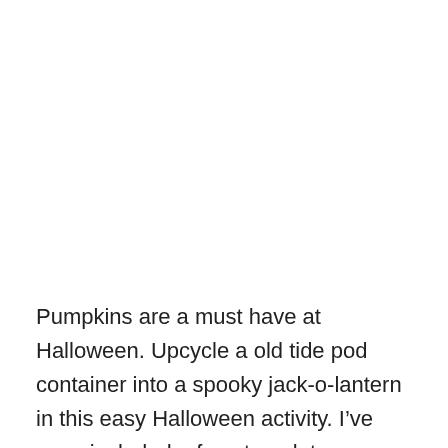Pumpkins are a must have at Halloween. Upcycle a old tide pod container into a spooky jack-o-lantern in this easy Halloween activity. I've even included a face template or you can create your own. Kids